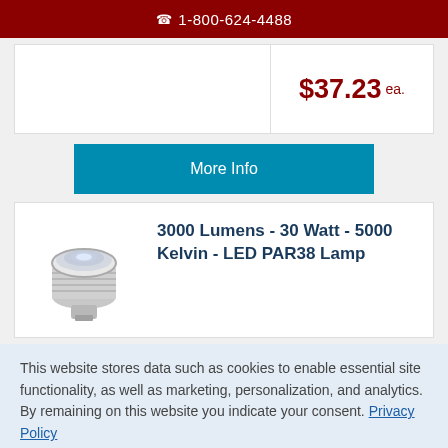1-800-624-4488
$37.23 ea.
More Info
3000 Lumens - 30 Watt - 5000 Kelvin - LED PAR38 Lamp
This website stores data such as cookies to enable essential site functionality, as well as marketing, personalization, and analytics. By remaining on this website you indicate your consent. Privacy Policy